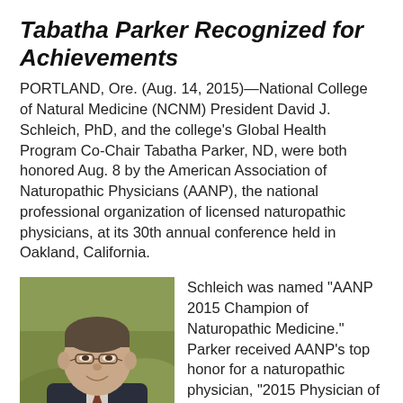Tabatha Parker Recognized for Achievements
PORTLAND, Ore. (Aug. 14, 2015)—National College of Natural Medicine (NCNM) President David J. Schleich, PhD, and the college's Global Health Program Co-Chair Tabatha Parker, ND, were both honored Aug. 8 by the American Association of Naturopathic Physicians (AANP), the national professional organization of licensed naturopathic physicians, at its 30th annual conference held in Oakland, California.
[Figure (photo): Headshot photograph of a man wearing glasses and a suit with a tie, smiling, with greenery in the background.]
Schleich was named "AANP 2015 Champion of Naturopathic Medicine." Parker received AANP's top honor for a naturopathic physician, "2015 Physician of